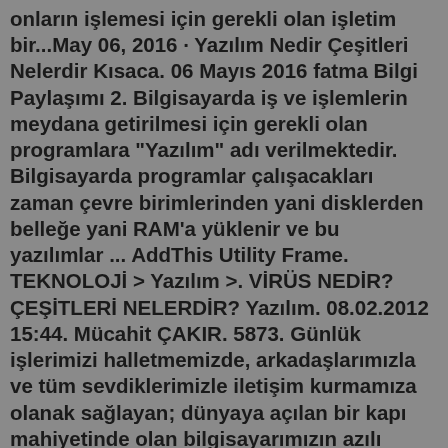onların işlemesi için gerekli olan işletim bir... May 06, 2016 · Yazılım Nedir Çeşitleri Nelerdir Kısaca. 06 Mayıs 2016 fatma Bilgi Paylaşımı 2. Bilgisayarda iş ve işlemlerin meydana getirilmesi için gerekli olan programlara "Yazılım" adı verilmektedir. Bilgisayarda programlar çalışacakları zaman çevre birimlerinden yani disklerden belleğe yani RAM'a yüklenir ve bu yazılımlar ... AddThis Utility Frame. TEKNOLOJİ > Yazılım >. VİRÜS NEDİR? ÇEŞİTLERİ NELERDİR? Yazılım. 08.02.2012 15:44. Mücahit ÇAKIR. 5873. Günlük işlerimizi halletmemizde, arkadaşlarımızla ve tüm sevdiklerimizle iletişim kurmamıza olanak sağlayan; dünyaya açılan bir kapı mahiyetinde olan bilgisayarımızın azılı ...Feb 05, 2015 · 1- Sistem Yazılımları (System Software): Bilgisayarın kendisinin işletilmesini sağlayan, işletim sistemi, derleyiciler (compilers) (Yazılım programında, yazılan programı makine diline çeviren program), çeşitli donatılar (facility) gibi yazılımlardır. 2- Uygulama Yazılımları (Application Software): Bu